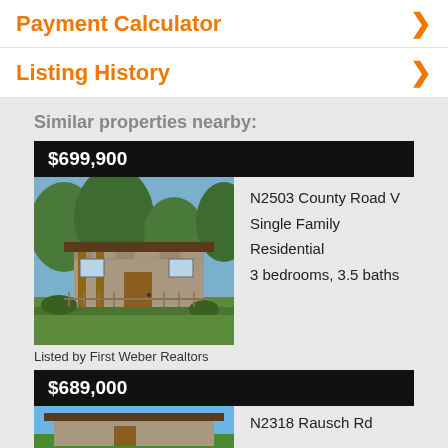Payment Calculator
Listing History
Similar properties nearby:
$699,900
[Figure (photo): Exterior photo of a stone ranch-style house with wood columns and lush greenery]
N2503 County Road V
Single Family Residential
3 bedrooms, 3.5 baths
Listed by First Weber Realtors
$689,000
N2318 Rausch Rd